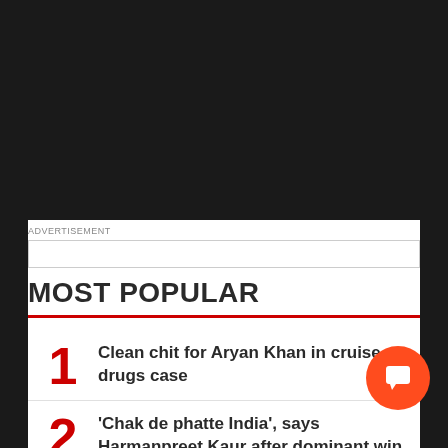ADVERTISEMENT
MOST POPULAR
1 Clean chit for Aryan Khan in cruise drugs case
2 'Chak de phatte India', says Harmanpreet Kaur after dominant win against…